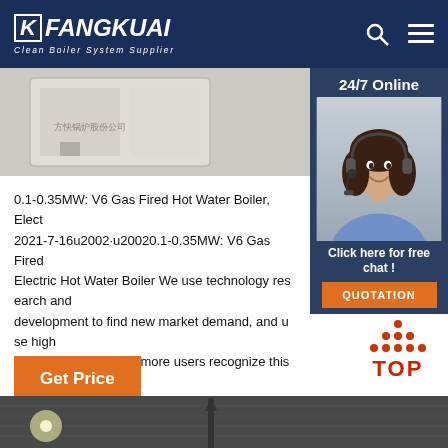FANGKUAI — Clean Boiler System Supplier
[Figure (photo): Hero image showing boiler equipment, partially visible, with Chinese text overlay]
[Figure (photo): 24/7 Online customer service agent — woman wearing headset smiling]
24/7 Online
Click here for free chat !
QUOTATION
0.1-0.35MW: V6 Gas Fired Hot Water Boiler, Elect 2021-7-16u2002·u20020.1-0.35MW: V6 Gas Fired Electric Hot Water Boiler We use technology research and development to find new market demand, and use high quality products to let more users recognize this kind of environmentally friendly low-cost boiler equipment.
Get Price
[Figure (other): TOP arrow graphic with orange dots forming an upward triangle above the text TOP in red]
[Figure (photo): Bottom strip showing industrial scene with light flare and tower silhouette]